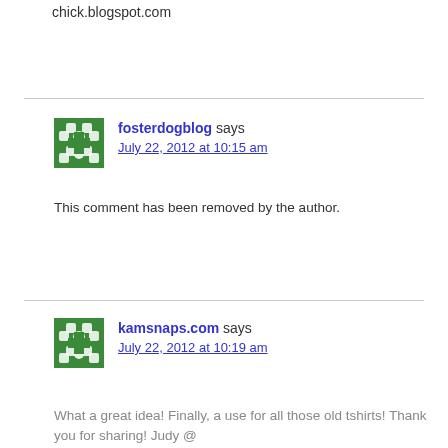chick.blogspot.com
fosterdogblog says
July 22, 2012 at 10:15 am
This comment has been removed by the author.
kamsnaps.com says
July 22, 2012 at 10:19 am
What a great idea! Finally, a use for all those old tshirts! Thank you for sharing! Judy @